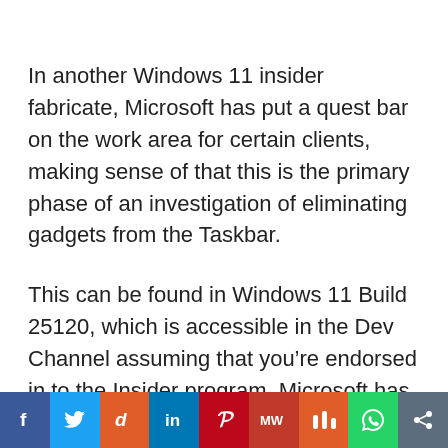In another Windows 11 insider fabricate, Microsoft has put a quest bar on the work area for certain clients, making sense of that this is the primary phase of an investigation of eliminating gadgets from the Taskbar.
This can be found in Windows 11 Build 25120, which is accessible in the Dev Channel assuming that you’re endorsed in to the Insider program. Microsoft has said that this will not appear to every one of clients are joined to the program, however a restart may
[Figure (infographic): Social media sharing bar with icons: Facebook, Twitter, Reddit, LinkedIn, Pinterest, MeWe, Mix, WhatsApp, Share]